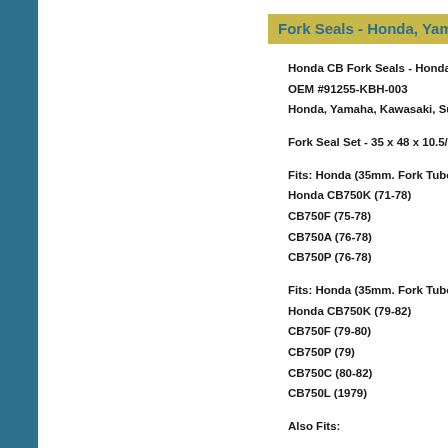Fork Seals - Honda, Yama...
Honda CB Fork Seals - Honda...
OEM #91255-KBH-003
Honda, Yamaha, Kawasaki, Su...
Fork Seal Set - 35 x 48 x 10.5/...
Fits: Honda (35mm. Fork Tube...
Honda CB750K (71-78)
CB750F (75-78)
CB750A (76-78)
CB750P (76-78)
Fits: Honda (35mm. Fork Tube...
Honda CB750K (79-82)
CB750F (79-80)
CB750P (79)
CB750C (80-82)
CB750L (1979)
Also Fits: